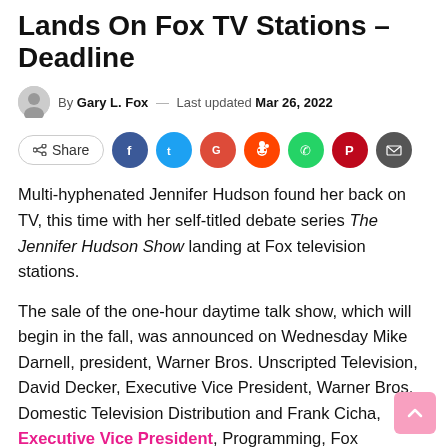Lands On Fox TV Stations – Deadline
By Gary L. Fox — Last updated Mar 26, 2022
[Figure (other): Social share bar with Share button and social media icons: Facebook, Twitter, Google+, Reddit, WhatsApp, Pinterest, Email]
Multi-hyphenated Jennifer Hudson found her back on TV, this time with her self-titled debate series The Jennifer Hudson Show landing at Fox television stations.
The sale of the one-hour daytime talk show, which will begin in the fall, was announced on Wednesday Mike Darnell, president, Warner Bros. Unscripted Television, David Decker, Executive Vice President, Warner Bros. Domestic Television Distribution and Frank Cicha, Executive Vice President, Programming, Fox Television Stations. Fox Television Stations will launch the show with Heart Television and other station groups.
The daytime chat program, which Deadline previously confirmed in November 2021, is from Warner Bros. Unscripted